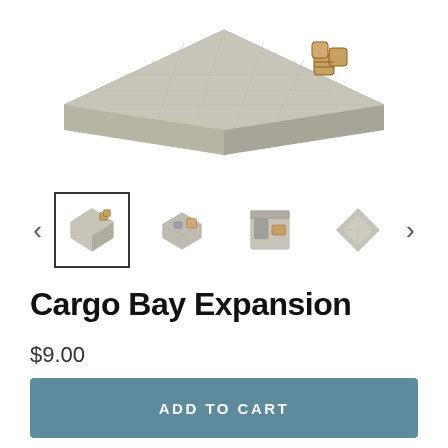[Figure (photo): 3D rendered isometric view of a Cargo Bay Expansion modular sci-fi terrain piece — a flat square platform with textured floor and wooden barrel crates in the corner]
[Figure (photo): Thumbnail 1 (selected): isometric view of cargo bay terrain with barrels — selected with black border]
[Figure (photo): Thumbnail 2: isometric view of cargo bay terrain piece with equipment]
[Figure (photo): Thumbnail 3: front-facing view of cargo bay terrain piece]
[Figure (photo): Thumbnail 4: top-down diamond/rhombus view of the flat terrain tile]
Cargo Bay Expansion
$9.00
ADD TO CART
Sci Fi Modular Corridor 3d printable Terrain